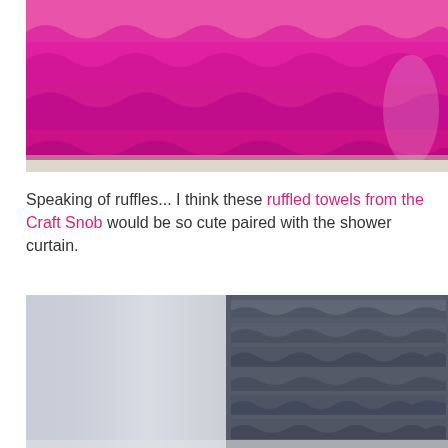[Figure (photo): Photo of a pink ruffled shower curtain with multiple tiers of bright magenta/hot pink ruffles, hanging in a bathroom with beige tile floor visible below.]
Speaking of ruffles... I think these ruffled towels from the Craft Snob would be so cute paired with the shower curtain.
[Figure (photo): Photo of a gray/blue ruffled towel displayed on a white surface, showing horizontal layers of textured fabric ruffles.]